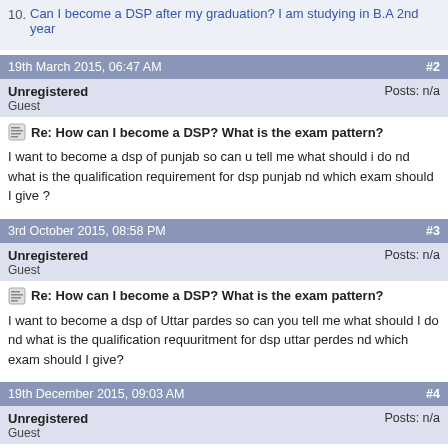10. Can I become a DSP after my graduation? I am studying in B.A 2nd year
19th March 2015, 06:47 AM  #2
Unregistered
Guest
Posts: n/a
Re: How can I become a DSP? What is the exam pattern?
I want to become a dsp of punjab so can u tell me what should i do nd what is the qualification requirement for dsp punjab nd which exam should I give ?
3rd October 2015, 08:58 PM  #3
Unregistered
Guest
Posts: n/a
Re: How can I become a DSP? What is the exam pattern?
I want to become a dsp of Uttar pardes so can you tell me what should I do nd what is the qualification requuritment for dsp uttar perdes nd which exam should I give?
19th December 2015, 09:03 AM  #4
Unregistered
Guest
Posts: n/a